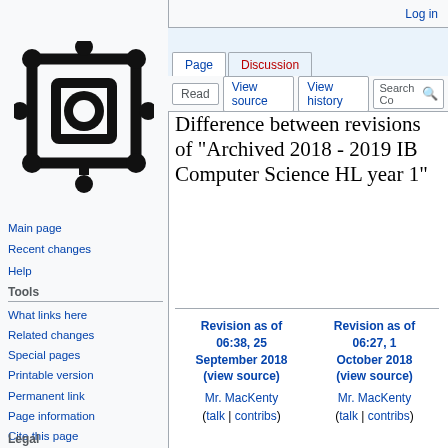Log in
[Figure (logo): Wikipedia-style logo: black network/gear icon on light gray background]
Main page
Recent changes
Help
Tools
What links here
Related changes
Special pages
Printable version
Permanent link
Page information
Cite this page
Legal
Difference between revisions of "Archived 2018 - 2019 IB Computer Science HL year 1"
| Revision as of 06:38, 25 September 2018 (view source) | Revision as of 06:27, 1 October 2018 (view source) |
| --- | --- |
| Mr. MacKenty | Mr. MacKenty |
| (talk | contribs) | (talk | contribs) |